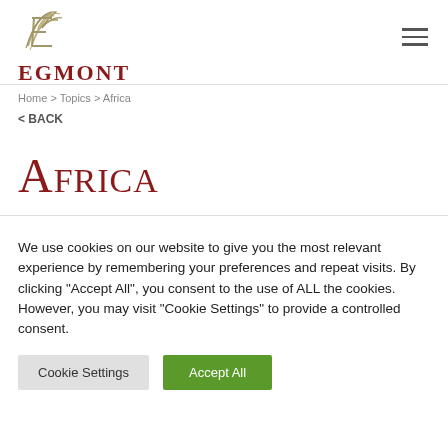[Figure (logo): Egmont logo with stylized E icon in gray/tan and bold dark red EGMONT text]
Home > Topics > Africa
< BACK
Africa
We use cookies on our website to give you the most relevant experience by remembering your preferences and repeat visits. By clicking "Accept All", you consent to the use of ALL the cookies. However, you may visit "Cookie Settings" to provide a controlled consent.